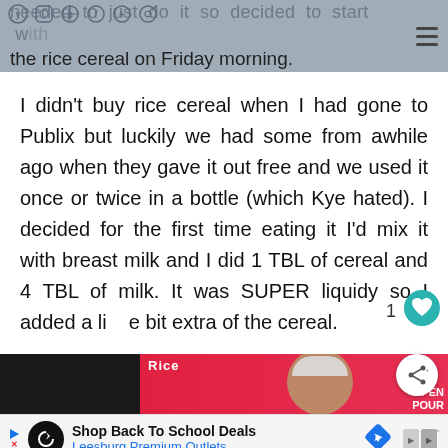needed to just do it so decided to start with the rice cereal on Friday morning.
I didn't buy rice cereal when I had gone to Publix but luckily we had some from awhile ago when they gave it out free and we used it once or twice in a bottle (which Kye hated). I decided for the first time eating it I'd mix it with breast milk and I did 1 TBL of cereal and 4 TBL of milk. It was SUPER liquidy so I added a little bit extra of the cereal.
[Figure (photo): Partially visible photo of a rice cereal box (pink) with a bowl, dark background on the left side. Text partially visible: 'rice' and 'OPEN POUR'.]
Shop Back To School Deals
Leesburg Premium Outlets